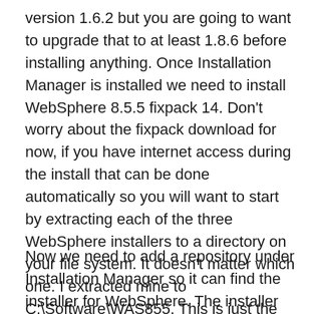version 1.6.2 but you are going to want to upgrade that to at least 1.8.6 before installing anything. Once Installation Manager is installed we need to install WebSphere 8.5.5 fixpack 14. Don't worry about the fixpack download for now, if you have internet access during the install that can be done automatically so you will want to start by extracting each of the three WebSphere installers to a directory on your file system. It doesn't matter which one. I extracted mine to C:\Software\WAS855. This is just the install directory so you don't need to keep it once the install is complete.
Now we need to add a repository under Installation Manager so it can find the installer for WebSphere. The installer file is always repository.config so I added a respository (File – Preferences) and pointed to